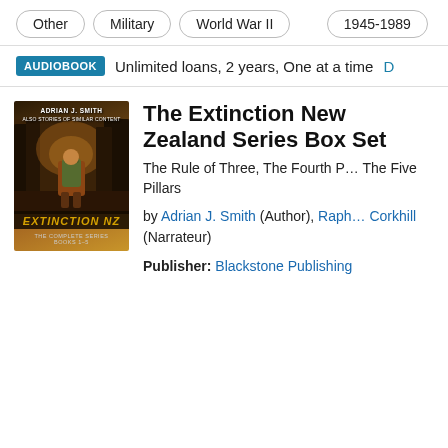Other
Military
World War II
1945-1989
AUDIOBOOK  Unlimited loans, 2 years, One at a time  D
[Figure (photo): Book cover for Extinction NZ series box set showing a figure with a backpack standing in a forest with dark atmospheric lighting. Cover text reads: Adrian J Smith, Extinction NZ, The Complete Series Books 1-5]
The Extinction New Zealand Series Box Set
The Rule of Three, The Fourth P…, The Five Pillars
by Adrian J. Smith (Author), Raph… Corkhill (Narrateur)
Publisher: Blackstone Publishing